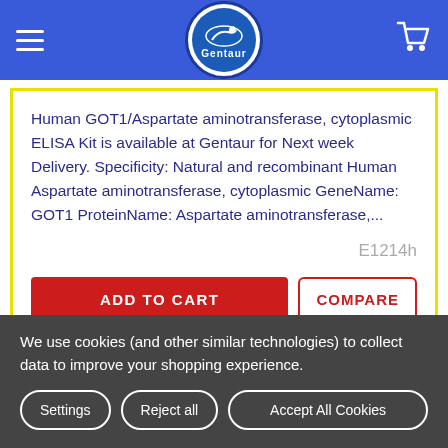Gentaur
Human GOT1/Aspartate aminotransferase, cytoplasmic ELISA Kit is available at Gentaur for Next week Delivery. Specificity: Natural and recombinant Human Aspartate aminotransferase, cytoplasmic GeneName: GOT1 ProteinName: Aspartate aminotransferase,...
E1214h
ADD TO CART
COMPARE
We use cookies (and other similar technologies) to collect data to improve your shopping experience.
Settings
Reject all
Accept All Cookies